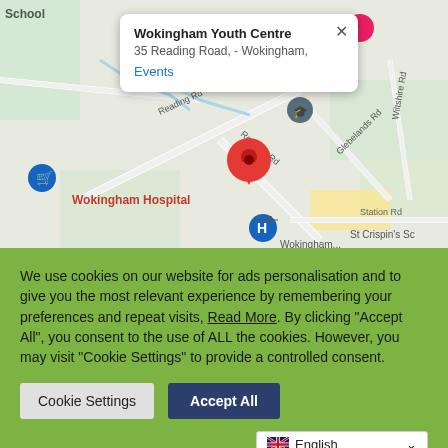[Figure (map): Google Maps screenshot showing Wokingham area with a popup for Wokingham Youth Centre at 35 Reading Road, with a red location pin, Wokingham Hospital marker, and surrounding street labels including Reading Rd, Glebelands Rd, Wiltshire Rd, Station Rd, St Crispin's School]
We use cookies on our website for ads personalisation and to give you the most relevant experience by remembering your preferences and repeat visits, Read More. By clicking "Accept All", you consent to the use of ALL the cookies. However, you may visit "Cookie Settings" to provide a controlled consent.